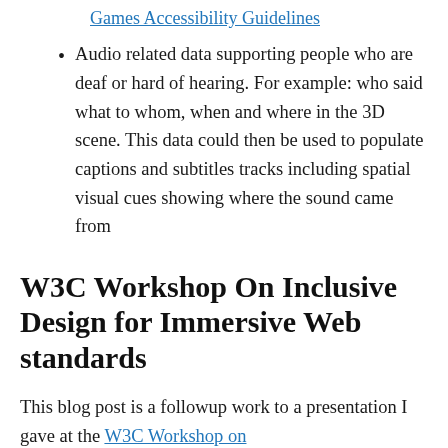Games Accessibility Guidelines
Audio related data supporting people who are deaf or hard of hearing. For example: who said what to whom, when and where in the 3D scene. This data could then be used to populate captions and subtitles tracks including spatial visual cues showing where the sound came from
W3C Workshop On Inclusive Design for Immersive Web standards
This blog post is a followup work to a presentation I gave at the W3C Workshop on